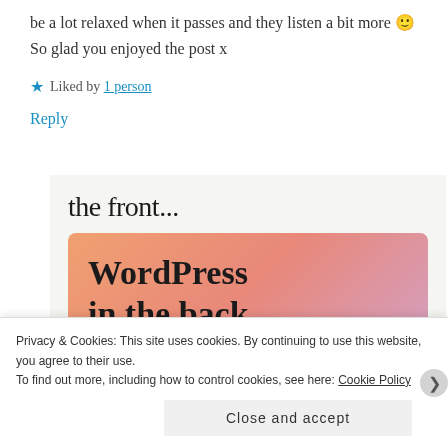be a lot relaxed when it passes and they listen a bit more 🙂 So glad you enjoyed the post x
★ Liked by 1 person
Reply
[Figure (screenshot): WordPress advertisement banner showing 'the front...' text at top on light grey background, then an orange/pink gradient box with bold text 'WordPress in the back.']
Privacy & Cookies: This site uses cookies. By continuing to use this website, you agree to their use. To find out more, including how to control cookies, see here: Cookie Policy
Close and accept